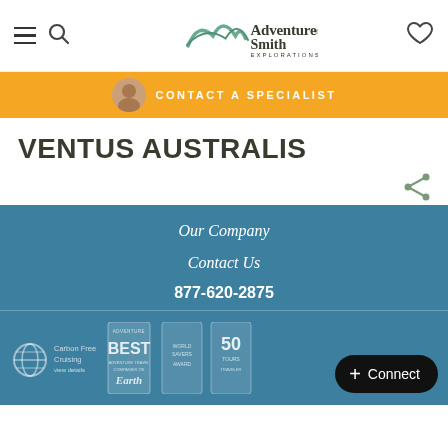AdventureSmith Explorations navigation header
CONTACT A SPECIALIST
VENTUS AUSTRALIS
Our Company
Contact Us
877-620-2875
[Figure (screenshot): Bottom badges section with Carbon Free Cruising globe badge, Adventure Best Earth award, World Savers Award, 50 Tours Traveler badge, and a Connect button]
+ Connect